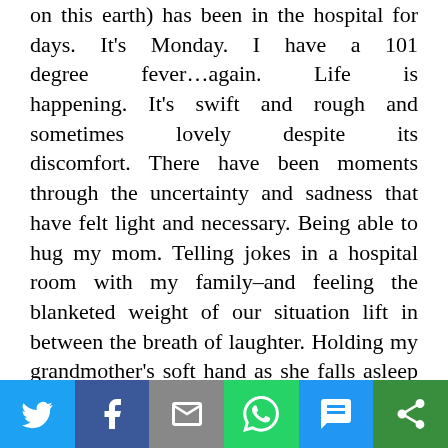on this earth) has been in the hospital for days. It's Monday. I have a 101 degree fever…again. Life is happening. It's swift and rough and sometimes lovely despite its discomfort. There have been moments through the uncertainty and sadness that have felt light and necessary. Being able to hug my mom. Telling jokes in a hospital room with my family–and feeling the blanketed weight of our situation lift in between the breath of laughter. Holding my grandmother's soft hand as she falls asleep and mumbles bits and pieces of her Watercress Soup recipe. Hanging out with my cousins and meeting their sweet puppy Moose. But, if we're honest, I'd really like to crank some sappy ballads, turn on the fireplace
[Figure (other): Social sharing bar with icons for Twitter, Facebook, Email, WhatsApp, SMS, and More]